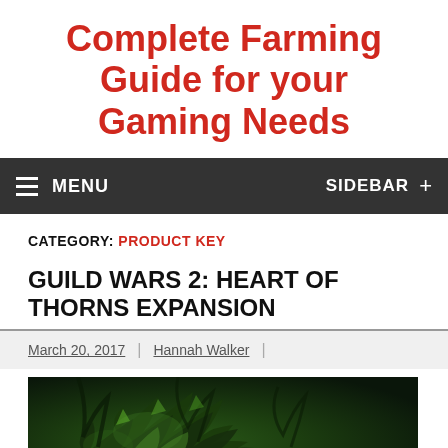Complete Farming Guide for your Gaming Needs
MENU   SIDEBAR +
CATEGORY: PRODUCT KEY
GUILD WARS 2: HEART OF THORNS EXPANSION
March 20, 2017 | Hannah Walker |
[Figure (photo): Dark green jungle/thorn imagery, partial view of a creature or plant with green thorny elements against a dark background]